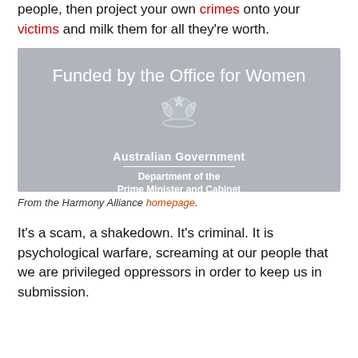people, then project your own crimes onto your victims and milk them for all they're worth.
[Figure (other): Australian Government Department of the Prime Minister and Cabinet logo on grey background, with text 'Funded by the Office for Women' at the top and coat of arms emblem in the centre.]
From the Harmony Alliance homepage.
It's a scam, a shakedown. It's criminal. It is psychological warfare, screaming at our people that we are privileged oppressors in order to keep us in submission.